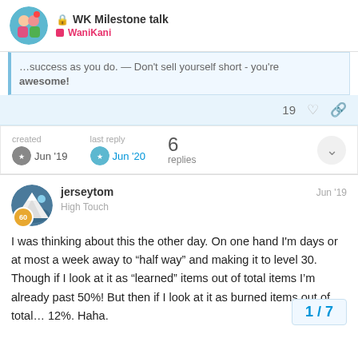WK Milestone talk — WaniKani
...success as you do. — Don't sell yourself short - you're awesome!
19 likes
created Jun '19  last reply Jun '20  6 replies
jerseytom  High Touch  Jun '19
I was thinking about this the other day. On one hand I'm days or at most a week away to “half way” and making it to level 30. Though if I look at it as “learned” items out of total items I’m already past 50%! But then if I look at it as burned items out of total… 12%. Haha.
1 / 7